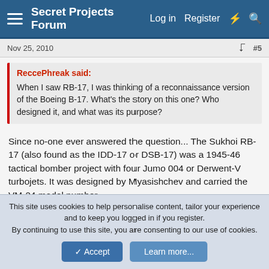Secret Projects Forum | Log in | Register
Nov 25, 2010   #5
ReccePhreak said:
When I saw RB-17, I was thinking of a reconnaissance version of the Boeing B-17. What's the story on this one? Who designed it, and what was its purpose?
Since no-one ever answered the question... The Sukhoi RB-17 (also found as the IDD-17 or DSB-17) was a 1945-46 tactical bomber project with four Jumo 004 or Derwent-V turbojets. It was designed by Myasishchev and carried the VM-24 model number.
Attachments
This site uses cookies to help personalise content, tailor your experience and to keep you logged in if you register.
By continuing to use this site, you are consenting to our use of cookies.